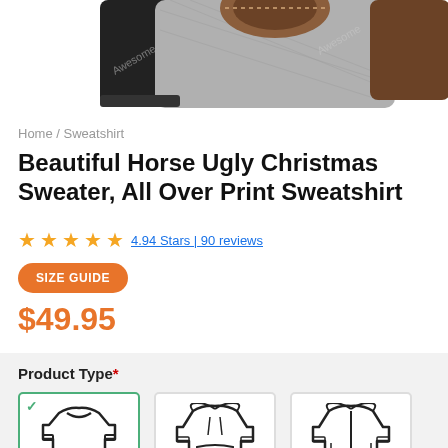[Figure (photo): Partial product image showing the back/shoulders of a horse-print sweatshirt in grey with brown leather-look accents, with black sleeves on each side and a watermark overlay.]
Home / Sweatshirt
Beautiful Horse Ugly Christmas Sweater, All Over Print Sweatshirt
4.94 Stars | 90 reviews
SIZE GUIDE
$49.95
Product Type*
[Figure (illustration): Three product type icons: a crewneck sweatshirt (selected, with green checkmark and teal border), a pullover hoodie, and a zip-up hoodie.]